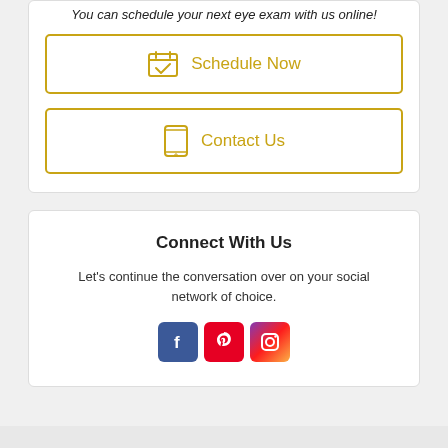You can schedule your next eye exam with us online!
Schedule Now
Contact Us
Connect With Us
Let's continue the conversation over on your social network of choice.
[Figure (infographic): Social media icons: Facebook, Pinterest, Instagram]